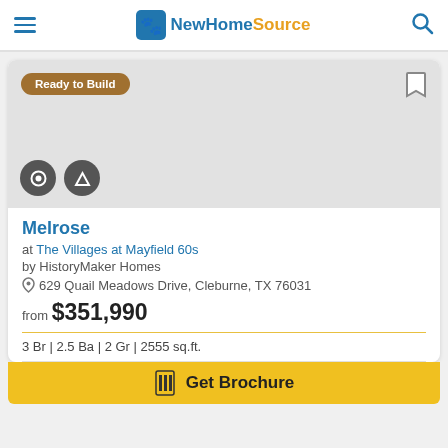NewHomeSource
[Figure (screenshot): Home listing image area with Ready to Build badge, bookmark icon, and view/floor plan icons]
Melrose
at The Villages at Mayfield 60s
by HistoryMaker Homes
629 Quail Meadows Drive, Cleburne, TX 76031
from $351,990
3 Br | 2.5 Ba | 2 Gr | 2555 sq.ft.
Get Brochure